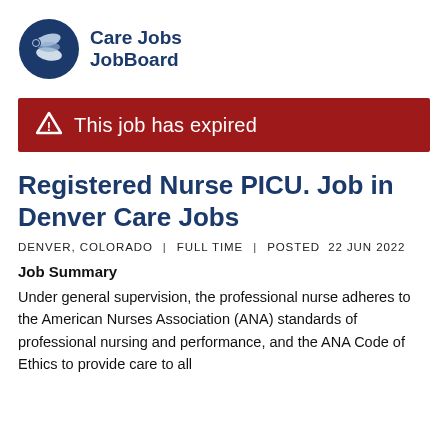[Figure (logo): Care Jobs JobBoard logo with circular blue icon showing hands and text 'Care Jobs JobBoard']
This job has expired
Registered Nurse PICU. Job in Denver Care Jobs
DENVER, COLORADO  |  FULL TIME  |  POSTED  22 JUN 2022
Job Summary
Under general supervision, the professional nurse adheres to the American Nurses Association (ANA) standards of professional nursing and performance, and the ANA Code of Ethics to provide care to all